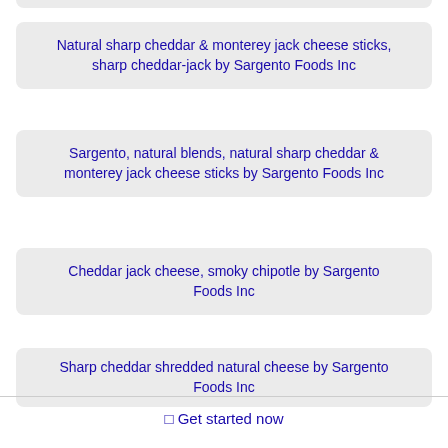Natural sharp cheddar & monterey jack cheese sticks, sharp cheddar-jack by Sargento Foods Inc
Sargento, natural blends, natural sharp cheddar & monterey jack cheese sticks by Sargento Foods Inc
Cheddar jack cheese, smoky chipotle by Sargento Foods Inc
Sharp cheddar shredded natural cheese by Sargento Foods Inc
⬜ Get started now